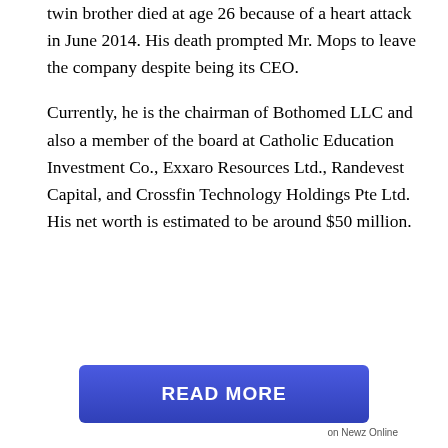twin brother died at age 26 because of a heart attack in June 2014. His death prompted Mr. Mops to leave the company despite being its CEO.
Currently, he is the chairman of Bothomed LLC and also a member of the board at Catholic Education Investment Co., Exxaro Resources Ltd., Randevest Capital, and Crossfin Technology Holdings Pte Ltd. His net worth is estimated to be around $50 million.
[Figure (other): Blue 'READ MORE' button with white bold text, followed by 'on Newz Online' label beneath it]